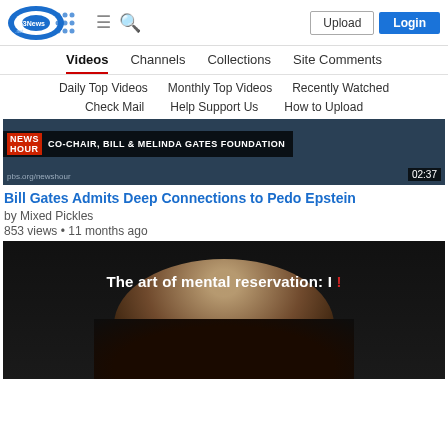[Figure (screenshot): 153News.net website header with logo, hamburger menu, search icon, Upload button, and Login button]
Videos | Channels | Collections | Site Comments
Daily Top Videos   Monthly Top Videos   Recently Watched
Check Mail   Help Support Us   How to Upload
[Figure (screenshot): Video thumbnail showing PBS NewsHour banner: CO-CHAIR, BILL & MELINDA GATES FOUNDATION, timestamp 02:37, pbs.org/newshour]
Bill Gates Admits Deep Connections to Pedo Epstein
by Mixed Pickles
853 views • 11 months ago
[Figure (screenshot): Video thumbnail with dark background showing a man and text 'The art of mental reservation: I !']